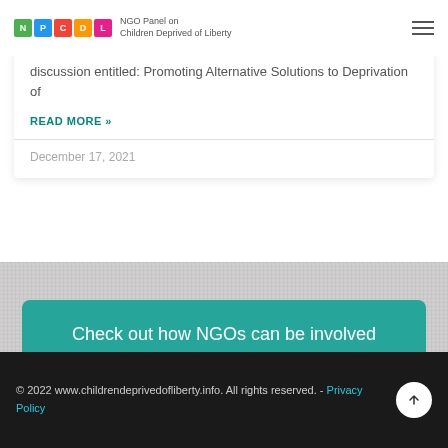NGO Panel on Children Deprived of Liberty
discussion entitled: Promoting Alternative Solutions to Deprivation of
READ MORE »
December 17, 2021
Check out how NGOs can be involved
© 2022 www.childrendeprivedofliberty.info. All rights reserved. - Privacy Policy